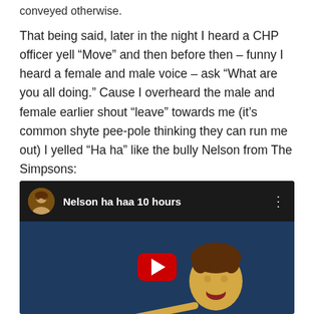conveyed otherwise.
That being said, later in the night I heard a CHP officer yell “Move” and then before then – funny I heard a female and male voice – ask “What are you all doing.” Cause I overheard the male and female earlier shout “leave” towards me (it’s common shyte pee-pole thinking they can run me out) I yelled “Ha ha” like the bully Nelson from The Simpsons:
[Figure (screenshot): YouTube video thumbnail showing 'Nelson ha haa 10 hours' with The Simpsons character Nelson and Ha Ha! text overlay]